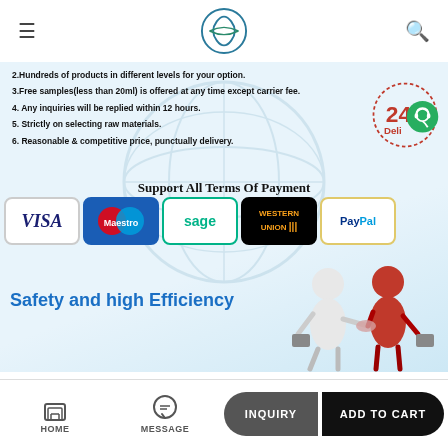Navigation header with logo, menu, and search icons
2.Hundreds of products in different levels for your option.
3.Free samples(less than 20ml) is offered at any time except carrier fee.
4. Any inquiries will be replied within 12 hours.
5. Strictly on selecting raw materials.
6. Reasonable & competitive price, punctually delivery.
[Figure (infographic): 24-hour delivery badge with clock and headset icon]
Support All Terms Of Payment
[Figure (infographic): Payment logos: VISA, Maestro, sage, WESTERN UNION, PayPal]
[Figure (illustration): Two figures shaking hands (white and red figures with briefcases)]
Safety and high Efficiency
HOME   MESSAGE   INQUIRY   ADD TO CART